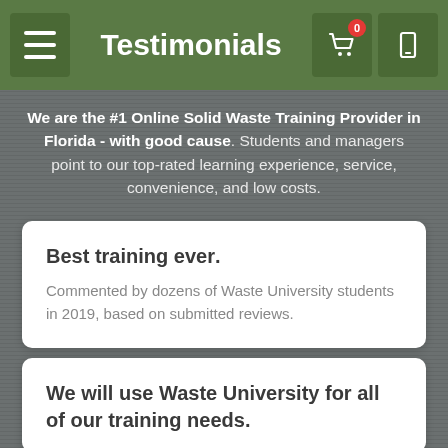Testimonials
We are the #1 Online Solid Waste Training Provider in Florida - with good cause. Students and managers point to our top-rated learning experience, service, convenience, and low costs.
Best training ever.
Commented by dozens of Waste University students in 2019, based on submitted reviews.
We will use Waste University for all of our training needs.